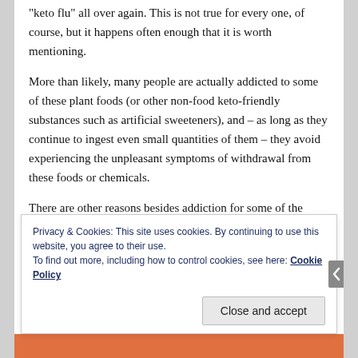“keto flu” all over again. This is not true for every one, of course, but it happens often enough that it is worth mentioning.

More than likely, many people are actually addicted to some of these plant foods (or other non-food keto-friendly substances such as artificial sweeteners), and – as long as they continue to ingest even small quantities of them – they avoid experiencing the unpleasant symptoms of withdrawal from these foods or chemicals.

There are other reasons besides addiction for some of the symptoms people experience when first embarking on a low-to-no carbohydrate diet. These symptoms are more a
Privacy & Cookies: This site uses cookies. By continuing to use this website, you agree to their use.
To find out more, including how to control cookies, see here: Cookie Policy